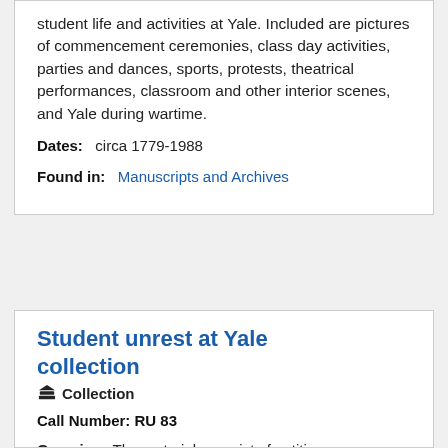student life and activities at Yale. Included are pictures of commencement ceremonies, class day activities, parties and dances, sports, protests, theatrical performances, classroom and other interior scenes, and Yale during wartime.
Dates:  circa 1779-1988
Found in:  Manuscripts and Archives
Student unrest at Yale collection
Collection
Call Number: RU 83
Overview: The materials consist of petitions, correspondence, photographs, notes, and clippings documenting various student riots